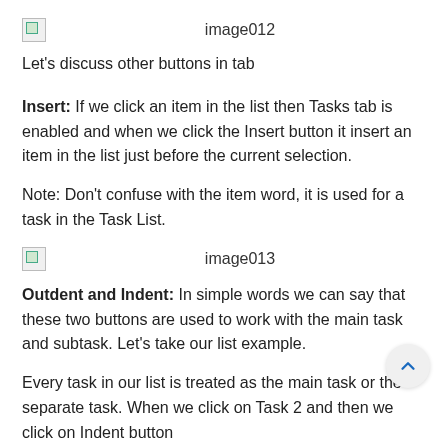[Figure (screenshot): Broken image placeholder labeled image012]
Let's discuss other buttons in tab
Insert: If we click an item in the list then Tasks tab is enabled and when we click the Insert button it insert an item in the list just before the current selection.
Note: Don't confuse with the item word, it is used for a task in the Task List.
[Figure (screenshot): Broken image placeholder labeled image013]
Outdent and Indent: In simple words we can say that these two buttons are used to work with the main task and subtask. Let's take our list example.
Every task in our list is treated as the main task or the separate task. When we click on Task 2 and then we click on Indent button